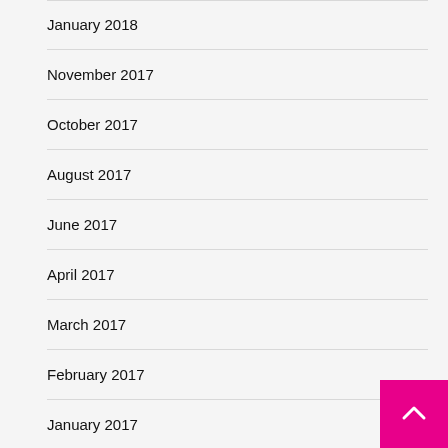January 2018
November 2017
October 2017
August 2017
June 2017
April 2017
March 2017
February 2017
January 2017